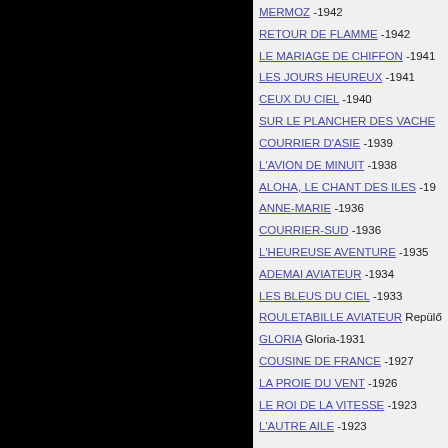MERMOZ -1942
RETOUR DE FLAMME -1942
LE MARIAGE DE CHIFFON -1941
LES JOURS HEUREUX -1941
CEUX DU CIEL -1940
SUR LE PLANCHER DES VACHE
COURRIER D'ASIE -1939
L'AVION DE MINUIT -1938
ALOHA, LE CHANT DES ILES -19
ANNE-MARIE -1936
COURRIER-SUD -1936
L'HEUREUSE AVENTURE -1935
ADEMAI AVIATEUR -1934
LES BLEUS DU CIEL -1933
ROULETABILLE AVIATEUR Repülő
GLORIA Gloria-1931
COUSINE DE FRANCE -1927
LA PROIE DU VENT -1926
LE ROI DE LA VITESSE -1923
L'AUTRE AILE -1923